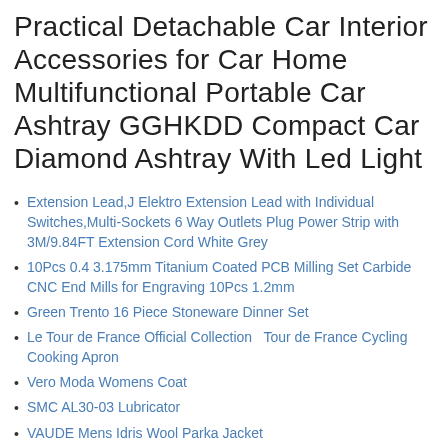Practical Detachable Car Interior Accessories for Car Home Multifunctional Portable Car Ashtray GGHKDD Compact Car Diamond Ashtray With Led Light
Extension Lead,J Elektro Extension Lead with Individual Switches,Multi-Sockets 6 Way Outlets Plug Power Strip with 3M/9.84FT Extension Cord White Grey
10Pcs 0.4 3.175mm Titanium Coated PCB Milling Set Carbide CNC End Mills for Engraving 10Pcs 1.2mm
Green Trento 16 Piece Stoneware Dinner Set
Le Tour de France Official Collection  Tour de France Cycling Cooking Apron
Vero Moda Womens Coat
SMC AL30-03 Lubricator
VAUDE Mens Idris Wool Parka Jacket